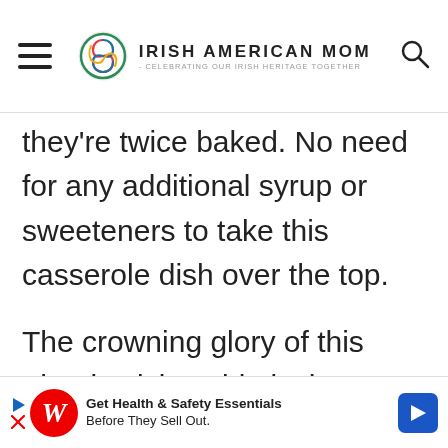Irish American Mom - Celebrating Our Irish Heritage Together
they're twice baked. No need for any additional syrup or sweeteners to take this casserole dish over the top.
The crowning glory of this Thanksgiving side is the pecan, bacon and panko topping. The textures and tastes combine to per...
[Figure (infographic): Walgreens advertisement banner: Get Health & Safety Essentials Before They Sell Out.]